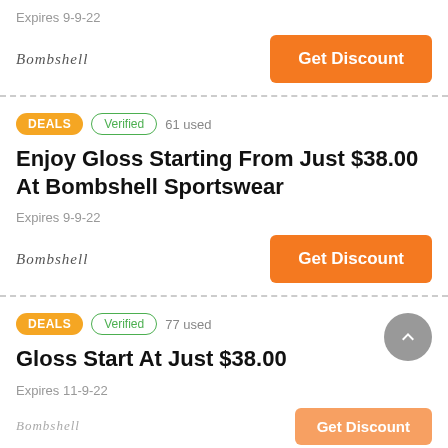Expires 9-9-22
Get Discount
DEALS Verified 61 used
Enjoy Gloss Starting From Just $38.00 At Bombshell Sportswear
Expires 9-9-22
Get Discount
DEALS Verified 77 used
Gloss Start At Just $38.00
Expires 11-9-22